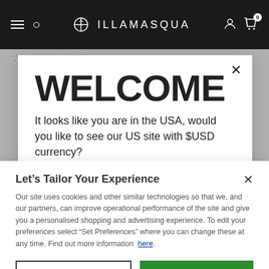ILLAMASQUA
Was this helpful?
WELCOME
It looks like you are in the USA, would you like to see our US site with $USD currency?
Let’s Tailor Your Experience
Our site uses cookies and other similar technologies so that we, and our partners, can improve operational performance of the site and give you a personalised shopping and advertising experience. To edit your preferences select “Set Preferences” where you can change these at any time. Find out more information here.
Set Preferences
That’s OK